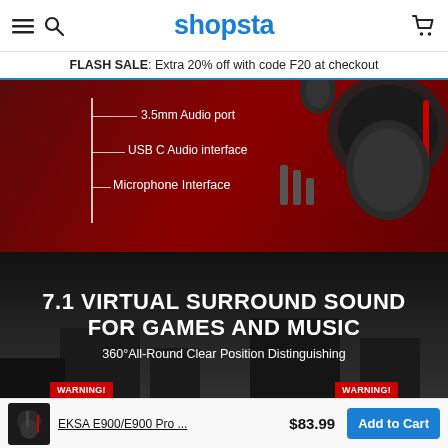shopsta
FLASH SALE: Extra 20% off with code F20 at checkout
[Figure (photo): Gaming headset product image showing 3.5mm Audio port, USB C Audio interface, and Microphone Interface annotations on dark red background, plus a scene with 7.1 Virtual Surround Sound text overlay and WARNING badges]
3.5mm Audio port
USB C Audio interface
Microphone Interface
7.1 VIRTUAL SURROUND SOUND FOR GAMES AND MUSIC
360°All-Round Clear Position Distinguishing
WARNING!
WARNING!
EKSA E900/E900 Pro ...  $83.99
Add to Cart